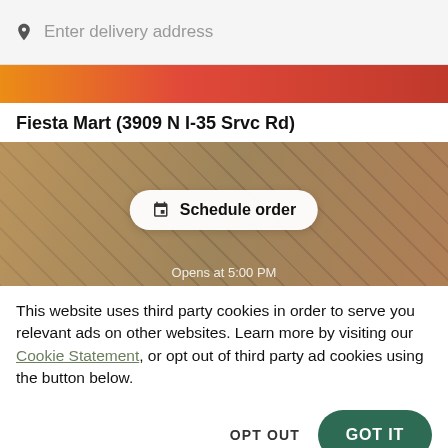Enter delivery address
[Figure (photo): Top strip showing colorful food items including yellow and red peppers on a red background]
Fiesta Mart (3909 N I-35 Srvc Rd)
[Figure (photo): Hero image of prepared food dishes including wraps and trays with a 'Schedule order' button overlay and 'Opens at 5:00 PM' text]
This website uses third party cookies in order to serve you relevant ads on other websites. Learn more by visiting our Cookie Statement, or opt out of third party ad cookies using the button below.
OPT OUT
GOT IT